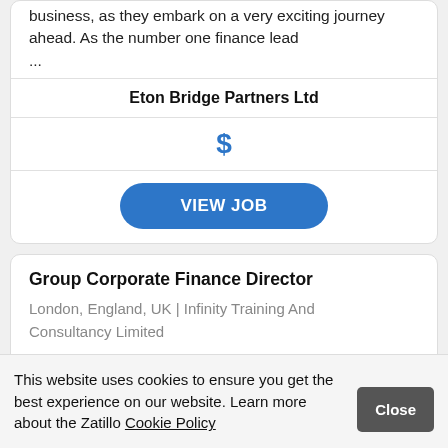business, as they embark on a very exciting journey ahead. As the number one finance lead ...
Eton Bridge Partners Ltd
$
VIEW JOB
Group Corporate Finance Director
London, England, UK | Infinity Training And Consultancy Limited
Corporate Finance Director (M&A/Fundraising)
This website uses cookies to ensure you get the best experience on our website. Learn more about the Zatillo Cookie Policy